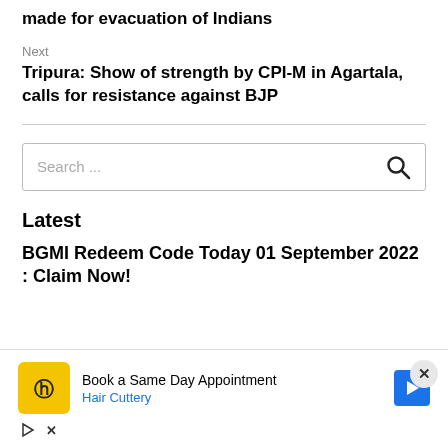made for evacuation of Indians
Next
Tripura: Show of strength by CPI-M in Agartala, calls for resistance against BJP
Latest
BGMI Redeem Code Today 01 September 2022 : Claim Now!
[Figure (infographic): Advertisement overlay: Hair Cuttery - Book a Same Day Appointment, with yellow HC logo and blue arrow icon]